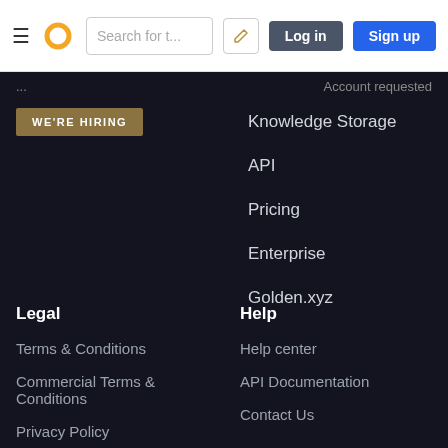≡  [logo]  Search for t...  [edit]  Log in  Sign up
...  Account requested
WE'RE HIRING
Knowledge Storage
API
Pricing
Enterprise
Golden.xyz
Legal
Help
Terms & Conditions
Help center
Commercial Terms & Conditions
API Documentation
Contact Us
Privacy Policy